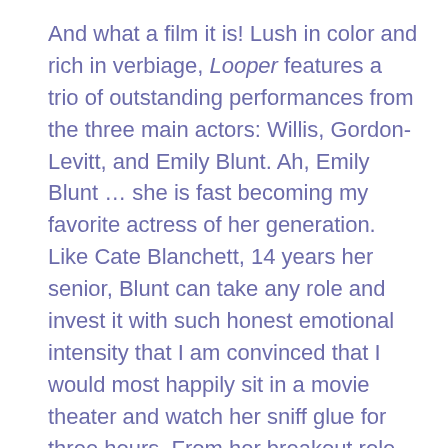And what a film it is! Lush in color and rich in verbiage, Looper features a trio of outstanding performances from the three main actors: Willis, Gordon-Levitt, and Emily Blunt. Ah, Emily Blunt … she is fast becoming my favorite actress of her generation. Like Cate Blanchett, 14 years her senior, Blunt can take any role and invest it with such honest emotional intensity that I am convinced that I would most happily sit in a movie theater and watch her sniff glue for three hours. From her breakout role in The Devil Wears Prada to her tour-de-force lead in The Young Victoria to her gloriously romantic and sexy pairing with Matt Damon in The Adjustment Bureau (another film where one must suspend disbelief, and where she is the main reason one is so willing to do so), Blunt has proven herself to be … simply sublime.